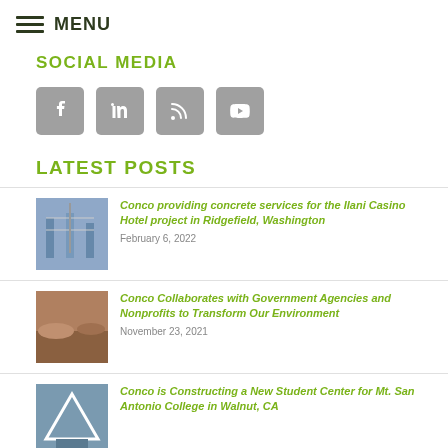MENU
SOCIAL MEDIA
[Figure (infographic): Social media icons: Facebook, LinkedIn, RSS feed, YouTube]
LATEST POSTS
Conco providing concrete services for the Ilani Casino Hotel project in Ridgefield, Washington — February 6, 2022
Conco Collaborates with Government Agencies and Nonprofits to Transform Our Environment — November 23, 2021
Conco is Constructing a New Student Center for Mt. San Antonio College in Walnut, CA